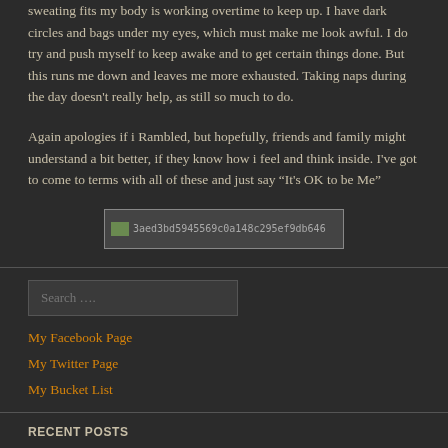sweating fits my body is working overtime to keep up. I have dark circles and bags under my eyes, which must make me look awful. I do try and push myself to keep awake and to get certain things done. But this runs me down and leaves me more exhausted. Taking naps during the day doesn't really help, as still so much to do.
Again apologies if i Rambled, but hopefully, friends and family might understand a bit better, if they know how i feel and think inside. I've got to come to terms with all of these and just say “It's OK to be Me”
[Figure (photo): Image placeholder with hash filename: 3aed3bd5945569c0a148c295ef9db646]
Search ….
My Facebook Page
My Twitter Page
My Bucket List
RECENT POSTS